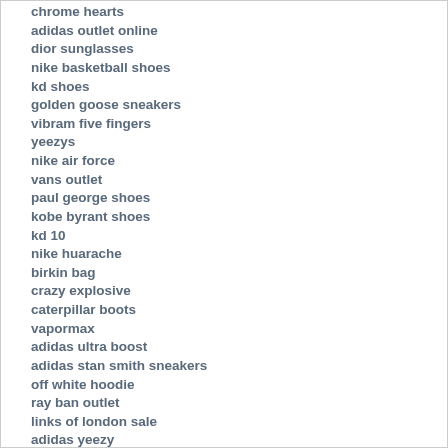chrome hearts
adidas outlet online
dior sunglasses
nike basketball shoes
kd shoes
golden goose sneakers
vibram five fingers
yeezys
nike air force
vans outlet
paul george shoes
kobe byrant shoes
kd 10
nike huarache
birkin bag
crazy explosive
caterpillar boots
vapormax
adidas ultra boost
adidas stan smith sneakers
off white hoodie
ray ban outlet
links of london sale
adidas yeezy
air jordan
pandora jewelry
hermes belts for men
harden shoes
nike react
yeezy boost 350
nike huarache
nike air max 90
tory burch sandals
jordan retro
michael kors purses
adidas ultra boost
jordan shoes
ysl